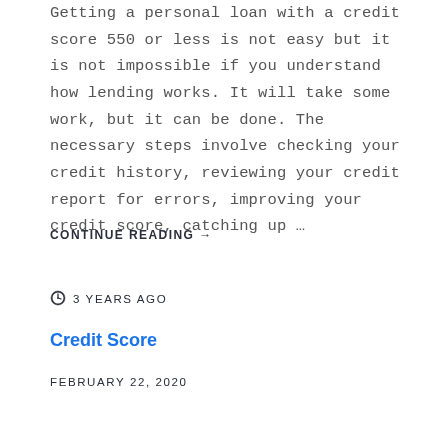Getting a personal loan with a credit score 550 or less is not easy but it is not impossible if you understand how lending works. It will take some work, but it can be done. The necessary steps involve checking your credit history, reviewing your credit report for errors, improving your credit score, catching up …
CONTINUE READING →
3 YEARS AGO
Credit Score
FEBRUARY 22, 2020